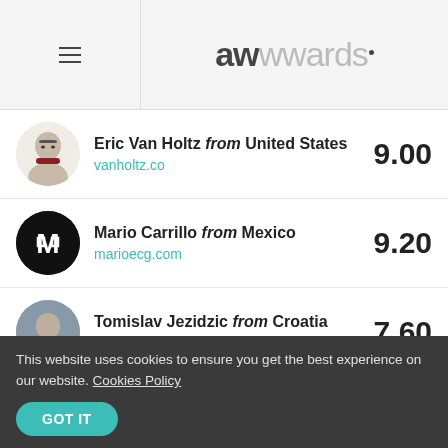awwwards
Eric Van Holtz from United States
vanholtz.co
9.00
Mario Carrillo from Mexico
marioecg.com
9.20
Tomislav Jezidzic from Croatia
its-tomo.netlify.app
7.60
CREDITS
This website uses cookies to ensure you get the best experience on our website. Cookies Policy
GOT IT